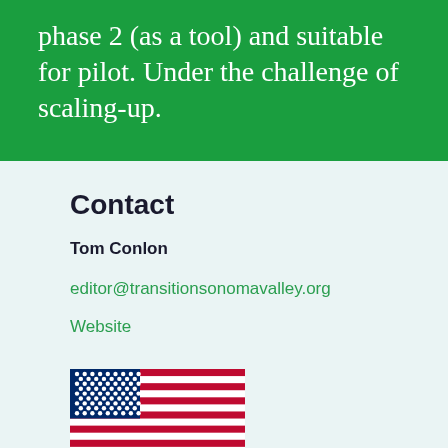phase 2 (as a tool) and suitable for pilot. Under the challenge of scaling-up.
Contact
Tom Conlon
editor@transitionsonomavalley.org
Website
[Figure (illustration): US flag illustration]